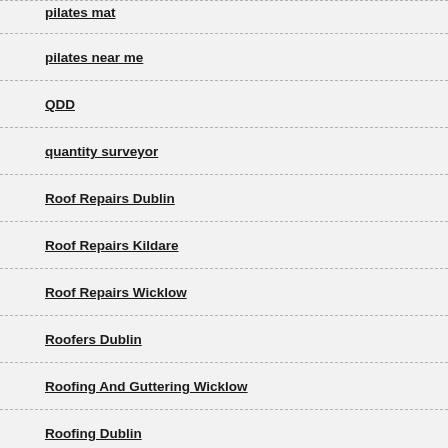pilates mat
pilates near me
QDD
quantity surveyor
Roof Repairs Dublin
Roof Repairs Kildare
Roof Repairs Wicklow
Roofers Dublin
Roofing And Guttering Wicklow
Roofing Dublin
Roofing Kildare